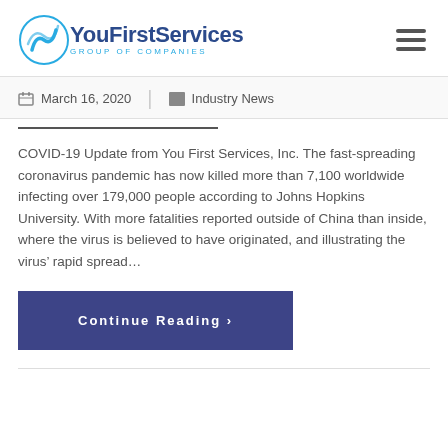[Figure (logo): YouFirstServices Group of Companies logo with blue swirl icon and company name]
March 16, 2020  |  Industry News
COVID-19 Update from You First Services, Inc. The fast-spreading coronavirus pandemic has now killed more than 7,100 worldwide infecting over 179,000 people according to Johns Hopkins University. With more fatalities reported outside of China than inside, where the virus is believed to have originated, and illustrating the virus' rapid spread…
Continue Reading >